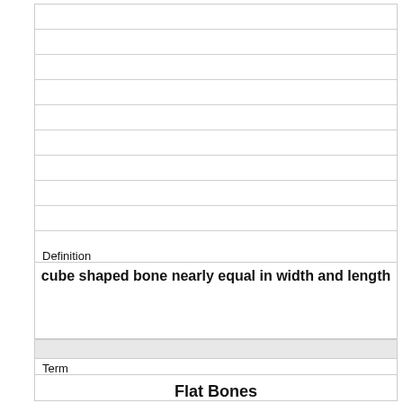Definition
cube shaped bone nearly equal in width and length
Term
Flat Bones